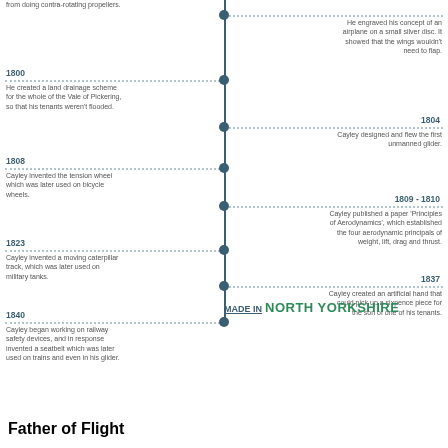[Figure (infographic): A vertical timeline infographic showing key events in George Cayley's life, with alternating left and right entries connected by dotted lines to a central vertical axis with circle markers. Events range from 1800 to 1840.]
from doing contra-rotating propellers.
He engraved his concept of an airplane on a small silver disc. It showed that the wings wouldn't need to flap.
1800
He created a land drainage scheme for the whole of the Vale of Pickering, so that his tenants weren't flooded.
1804
Cayley designed and flew the first unmanned glider.
1808
Cayley invented the tension wheel which was later used on bicycle wheels.
1809 - 1810
Cayley published a paper 'Principles of Aerodynamics', which established the four aerodynamic principals of weight, lift, drag and thrust.
1823
Cayley invented a moving caterpillar track, which was later used on military tanks.
1837
Cayley created an artificial hand that could pick up a sixpence piece for the son of one of his tenants.
1840
Cayley began working on railway safety devices, and in response invented a seatbelt which was later used on trains and even in his glider.
MADE IN NORTH YORKSHIRE
Father of Flight